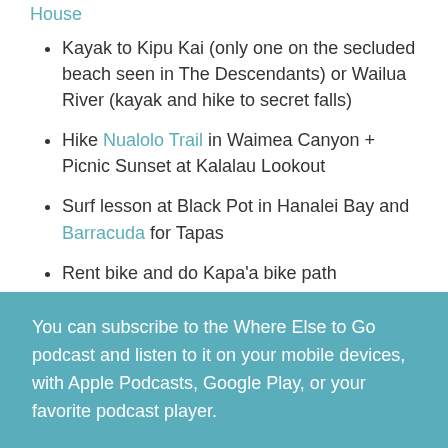House
Kayak to Kipu Kai (only one on the secluded beach seen in The Descendants) or Wailua River (kayak and hike to secret falls)
Hike Nualolo Trail in Waimea Canyon + Picnic Sunset at Kalalau Lookout
Surf lesson at Black Pot in Hanalei Bay and Barracuda for Tapas
Rent bike and do Kapa'a bike path
You can subscribe to the Where Else to Go podcast and listen to it on your mobile devices, with Apple Podcasts, Google Play, or your favorite podcast player.